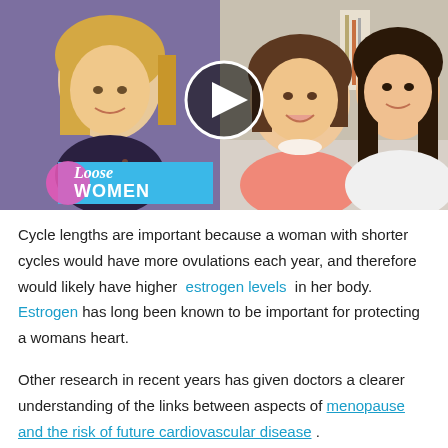[Figure (photo): TV screenshot showing two panels: left panel shows a blonde woman smiling on a purple studio background with 'Loose Women' logo overlay; right panel shows two women (one in pink top, one with long dark hair) with a video play button overlay in the center.]
Cycle lengths are important because a woman with shorter cycles would have more ovulations each year, and therefore would likely have higher estrogen levels in her body. Estrogen has long been known to be important for protecting a womans heart.
Other research in recent years has given doctors a clearer understanding of the links between aspects of menopause and the risk of future cardiovascular disease .